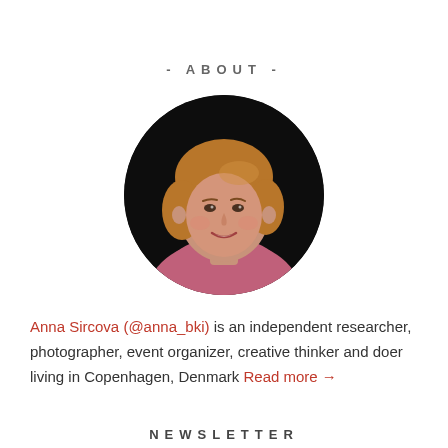- ABOUT -
[Figure (photo): Circular portrait photo of Anna Sircova, a woman with short reddish-blonde hair wearing a pink top, photographed against a dark background.]
Anna Sircova (@anna_bki) is an independent researcher, photographer, event organizer, creative thinker and doer living in Copenhagen, Denmark Read more →
NEWSLETTER